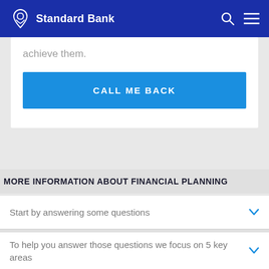Standard Bank
achieve them.
CALL ME BACK
MORE INFORMATION ABOUT FINANCIAL PLANNING
Start by answering some questions
To help you answer those questions we focus on 5 key areas